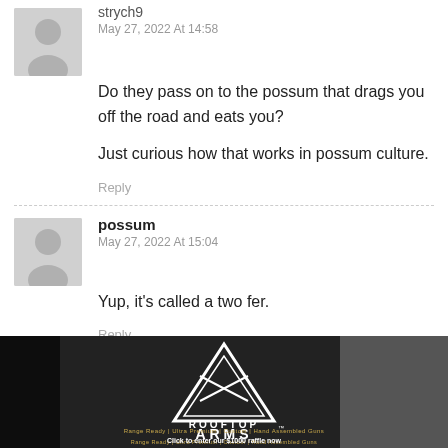strych9
May 27, 2022 At 14:58
Do they pass on to the possum that drags you off the road and eats you?
Just curious how that works in possum culture.
Reply
possum
May 27, 2022 At 15:04
Yup, it's called a two fer.
Reply
strych9
[Figure (photo): Rooftop Arms advertisement banner with logo, crossed rifles inside triangle, tagline 'Range Ready | Ultra Premium | Custom | Hand Assembled Guns', 'Click to enter our $1000 raffle now', 'USA MADE - VETERAN OWNED']